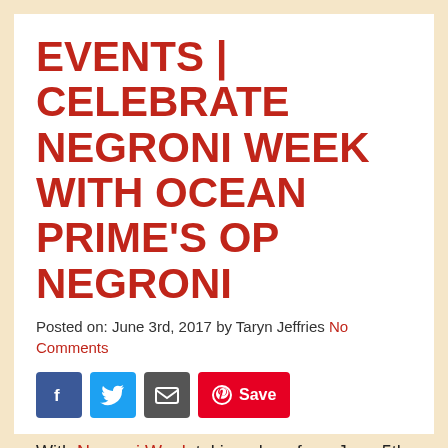EVENTS | CELEBRATE NEGRONI WEEK WITH OCEAN PRIME'S OP NEGRONI
Posted on: June 3rd, 2017 by Taryn Jeffries No Comments
[Figure (other): Social share buttons: Facebook, Twitter, Email, Pinterest Save]
With Negroni Week taking place from June 5th through June 11th, our friends at Ocean Prime wanted to make sure that you have the perfect recipe to make the best negroni at home. The OP Negroni is perfect for sipping and celebrating.